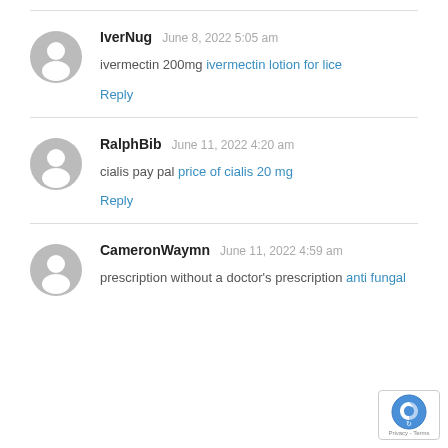IverNug — June 8, 2022 5:05 am
ivermectin 200mg ivermectin lotion for lice
Reply
RalphBib — June 11, 2022 4:20 am
cialis pay pal price of cialis 20 mg
Reply
CameronWaymn — June 11, 2022 4:59 am
prescription without a doctor's prescription anti fungal